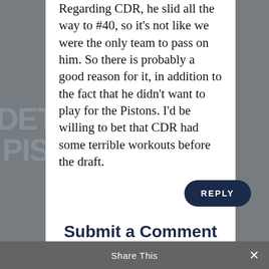Regarding CDR, he slid all the way to #40, so it's not like we were the only team to pass on him. So there is probably a good reason for it, in addition to the fact that he didn't want to play for the Pistons. I'd be willing to bet that CDR had some terrible workouts before the draft.
REPLY
Submit a Comment
Your email address will not be published.
Share This